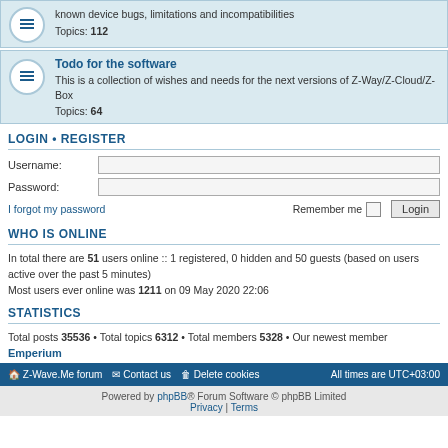known device bugs, limitations and incompatibilities
Topics: 112
Todo for the software
This is a collection of wishes and needs for the next versions of Z-Way/Z-Cloud/Z-Box
Topics: 64
LOGIN • REGISTER
Username:
Password:
I forgot my password
Remember me  Login
WHO IS ONLINE
In total there are 51 users online :: 1 registered, 0 hidden and 50 guests (based on users active over the past 5 minutes)
Most users ever online was 1211 on 09 May 2020 22:06
STATISTICS
Total posts 35536 • Total topics 6312 • Total members 5328 • Our newest member Emperium
Z-Wave.Me forum   Contact us   Delete cookies   All times are UTC+03:00
Powered by phpBB® Forum Software © phpBB Limited
Privacy | Terms